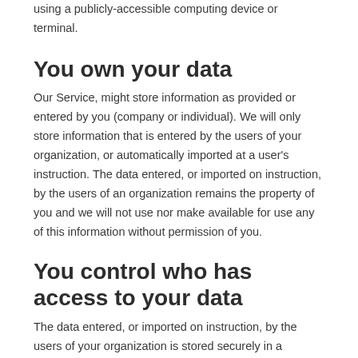using a publicly-accessible computing device or terminal.
You own your data
Our Service, might store information as provided or entered by you (company or individual). We will only store information that is entered by the users of your organization, or automatically imported at a user's instruction. The data entered, or imported on instruction, by the users of an organization remains the property of you and we will not use nor make available for use any of this information without permission of you.
You control who has access to your data
The data entered, or imported on instruction, by the users of your organization is stored securely in a database and is only accessible to the approved users